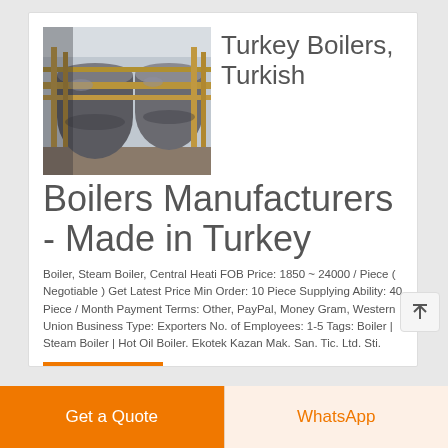[Figure (photo): Industrial boilers in a manufacturing facility - large cylindrical steel pressure vessels with pipework]
Turkey Boilers, Turkish Boilers Manufacturers - Made in Turkey
Boiler, Steam Boiler, Central Heati FOB Price: 1850 ~ 24000 / Piece ( Negotiable ) Get Latest Price Min Order: 10 Piece Supplying Ability: 40 Piece / Month Payment Terms: Other, PayPal, Money Gram, Western Union Business Type: Exporters No. of Employees: 1-5 Tags: Boiler | Steam Boiler | Hot Oil Boiler. Ekotek Kazan Mak. San. Tic. Ltd. Sti.